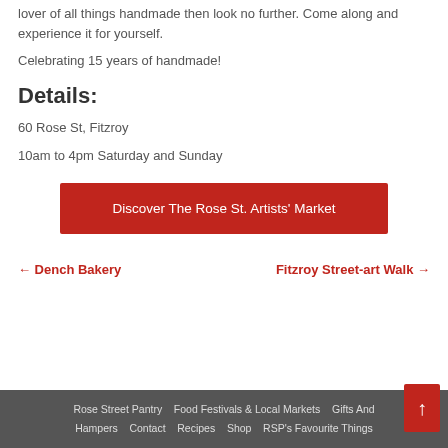lover of all things handmade then look no further. Come along and experience it for yourself.
Celebrating 15 years of handmade!
Details:
60 Rose St, Fitzroy
10am to 4pm Saturday and Sunday
Discover The Rose St. Artists' Market
← Dench Bakery
Fitzroy Street-art Walk →
Rose Street Pantry   Food Festivals & Local Markets   Gifts And Hampers   Contact   Recipes   Shop   RSP's Favourite Things